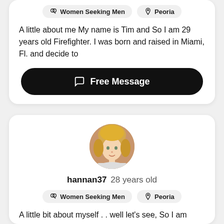Women Seeking Men   Peoria
A little about me My name is Tim and So I am 29 years old Firefighter. I was born and raised in Miami, Fl. and decide to
[Figure (other): Black rounded button with chat icon and text: Free Message]
[Figure (photo): Circular profile photo of a young blonde girl]
hannan37 28 years old
Women Seeking Men   Peoria
A little bit about myself . . well let's see, So I am